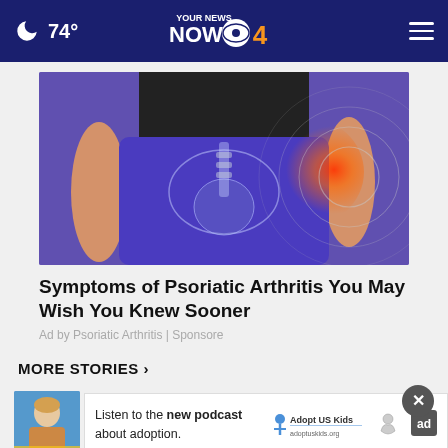74° YOUR NEWS NOW CBS 4
[Figure (photo): Medical illustration overlaid on a person wearing blue leggings, showing pelvis/hip anatomy with a red glowing pain indicator on the right hip area and concentric circle ripple effect]
Symptoms of Psoriatic Arthritis You May Wish You Knew Sooner
Ad by Psoriatic Arthritis | Sponsore
MORE STORIES ›
[Figure (screenshot): Partial thumbnail of a news story showing a woman with blonde hair, partially visible]
Listen to the new podcast about adoption.
[Figure (logo): Adopt US Kids logo with figure icon]
[Figure (logo): Ad Choices logo]